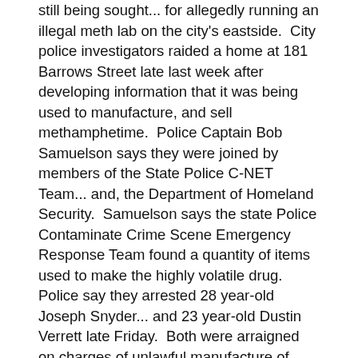still being sought... for allegedly running an illegal meth lab on the city's eastside.  City police investigators raided a home at 181 Barrows Street late last week after developing information that it was being used to manufacture, and sell methamphetime.  Police Captain Bob Samuelson says they were joined by members of the State Police C-NET Team... and, the Department of Homeland Security.  Samuelson says the state Police Contaminate Crime Scene Emergency Response Team found a quantity of items used to make the highly volatile drug.  Police say they arrested 28 year-old Joseph Snyder... and 23 year-old Dustin Verrett late Friday.  Both were arraigned on charges of unlawful manufacture of methamphetime... and, criminal possession of a controlled substance... and, sent to the county jail without bail.
City police add they are also looking for a third suspect in the case.  Officers accuse 38 year-old Donald Dean... who also lives at the 181 Barrows address... is wanted on